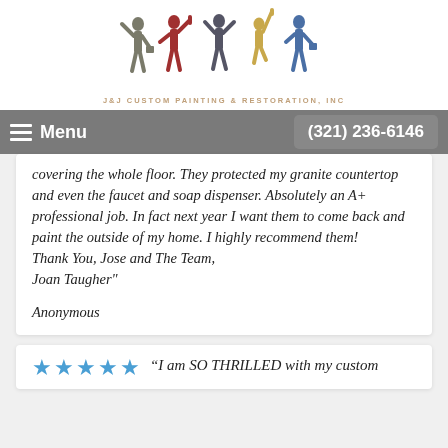[Figure (logo): J&J Custom Painting & Restoration, Inc logo with five colorful silhouette figures of painters]
J&J CUSTOM PAINTING & RESTORATION, INC
Menu  (321) 236-6146
covering the whole floor. They protected my granite countertop and even the faucet and soap dispenser. Absolutely an A+ professional job. In fact next year I want them to come back and paint the outside of my home. I highly recommend them! Thank You, Jose and The Team, Joan Taugher"
Anonymous
"I am SO THRILLED with my custom